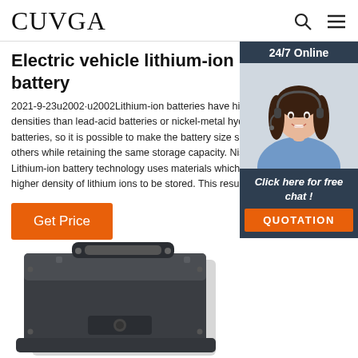CUVGA
Electric vehicle lithium-ion battery
2021-9-23u2002·u2002Lithium-ion batteries have higher energy densities than lead-acid batteries or nickel-metal hydride batteries, so it is possible to make the battery size smaller than others while retaining the same storage capacity. Nisshinbo Lithium-ion battery technology uses materials which allow a higher density of lithium ions to be stored. This resul
Get Price
[Figure (photo): Customer service representative woman wearing headset, smiling, with 24/7 Online label and Click here for free chat / QUOTATION button overlay]
[Figure (photo): Electric vehicle lithium-ion battery pack, dark grey rectangular unit with carry handle on top, photographed from above at slight angle]